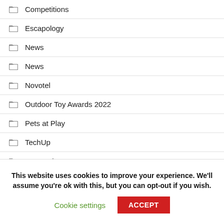Competitions
Escapology
News
News
Novotel
Outdoor Toy Awards 2022
Pets at Play
TechUp
Toy Reviews
Uncategorized
Video
This website uses cookies to improve your experience. We'll assume you're ok with this, but you can opt-out if you wish.
Cookie settings
ACCEPT